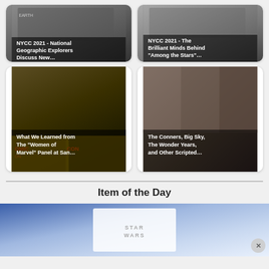[Figure (screenshot): Thumbnail card: NYCC 2021 - National Geographic Explorers Discuss New...]
[Figure (screenshot): Thumbnail card: NYCC 2021 - The Brilliant Minds Behind "Among the Stars"...]
[Figure (screenshot): Thumbnail card: What We Learned from The "Women of Marvel" Panel at San...]
[Figure (screenshot): Thumbnail card: The Conners, Big Sky, The Wonder Years, and Other Scripted...]
Item of the Day
[Figure (photo): Item of the Day image showing a Star Wars branded item on a blue/light background, with a close (X) button in the lower right.]